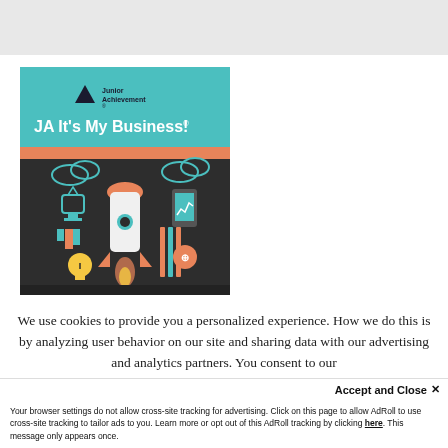[Figure (illustration): Junior Achievement 'JA It's My Business!' book/resource cover. Teal/turquoise header with Junior Achievement logo (triangle mountain icon) and text. Orange accent bar below header. Dark background illustration with rocket ship, trophy, mobile phone with chart, lightbulb, bar chart icons in teal and orange.]
We use cookies to provide you a personalized experience. How we do this is by analyzing user behavior on our site and sharing data with our advertising and analytics partners. You consent to our cookie policy if you continue to use this...
Accept and Close ✕
Your browser settings do not allow cross-site tracking for advertising. Click on this page to allow AdRoll to use cross-site tracking to tailor ads to you. Learn more or opt out of this AdRoll tracking by clicking here. This message only appears once.